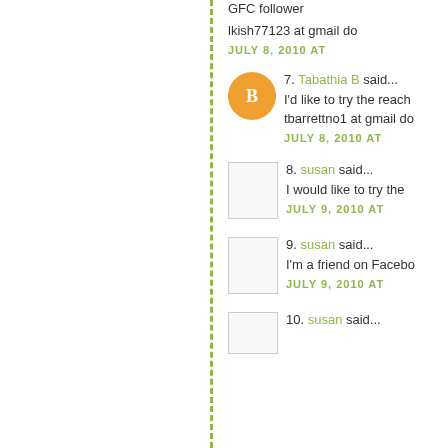GFC follower
lkish77123 at gmail do
JULY 8, 2010 AT
7. Tabathia B said...
I'd like to try the reach
tbarrettno1 at gmail do
JULY 8, 2010 AT
8. susan said...
I would like to try the
JULY 9, 2010 AT
9. susan said...
I'm a friend on Facebo
JULY 9, 2010 AT
10. susan said...